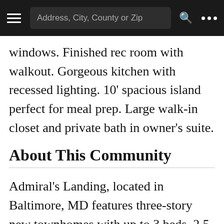Address, City, County or Zip
windows. Finished rec room with walkout. Gorgeous kitchen with recessed lighting. 10' spacious island perfect for meal prep. Large walk-in closet and private bath in owner's suite.
About This Community
Admiral's Landing, located in Baltimore, MD features three-story new townhomes with up to 3 beds, 2.5 baths and 1-car garages. Enjoy the convenience of a neighboring park as well as